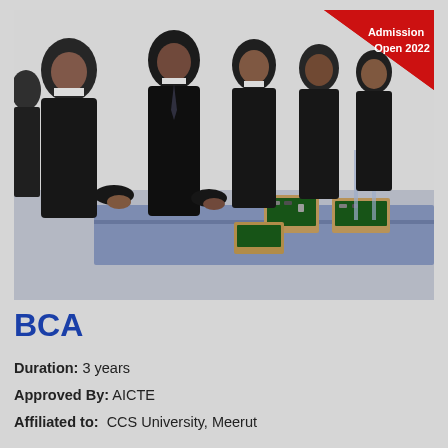[Figure (photo): Students in black suits standing around a lab table with electronic circuit boards and components, working on practical exercises. A red triangular banner in the top-right corner reads 'Admission Open 2022'.]
BCA
Duration: 3 years
Approved By: AICTE
Affiliated to: CCS University, Meerut